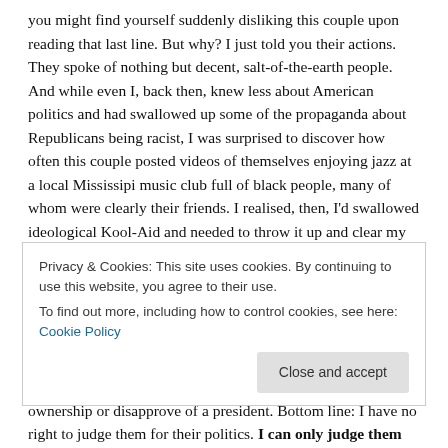you might find yourself suddenly disliking this couple upon reading that last line. But why? I just told you their actions. They spoke of nothing but decent, salt-of-the-earth people. And while even I, back then, knew less about American politics and had swallowed up some of the propaganda about Republicans being racist, I was surprised to discover how often this couple posted videos of themselves enjoying jazz at a local Mississipi music club full of black people, many of whom were clearly their friends. I realised, then, I'd swallowed ideological Kool-Aid and needed to throw it up and clear my headspace.
What I also realised is, their set of beliefs are their absolute right to have and not really mine to judge, because I don't live where they do, I don't know their life stories, I don't know the issues in their community, and I didn't bother to respectfully engage with them about why they might support gun ownership or disapprove of a president. Bottom line: I have no right to judge them for their politics. I can only judge them by how they
Privacy & Cookies: This site uses cookies. By continuing to use this website, you agree to their use.
To find out more, including how to control cookies, see here: Cookie Policy